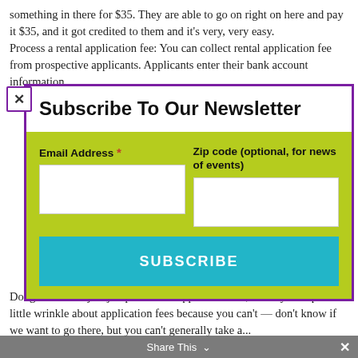something in there for $35. They are able to go on right on here and pay it $35, and it got credited to them and it's very, very easy.
Process a rental application fee: You can collect rental application fee from prospective applicants. Applicants enter their bank account information
[Figure (other): Newsletter subscription modal popup with purple border, containing title 'Subscribe To Our Newsletter', a green background form section with Email Address field (required, marked with asterisk), Zip code (optional, for news of events) field, and a teal SUBSCRIBE button. A close X button appears at top-left of modal.]
Doug: If I could just jump in on the application fee, could you explain a little wrinkle about application fees because you can't — don't know if we want to go there, but you can't generally take a...
Share This